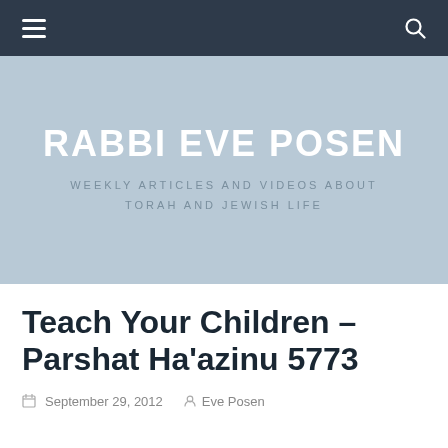Navigation bar with hamburger menu and search icon
RABBI EVE POSEN
WEEKLY ARTICLES AND VIDEOS ABOUT TORAH AND JEWISH LIFE
Teach Your Children – Parshat Ha'azinu 5773
September 29, 2012  Eve Posen